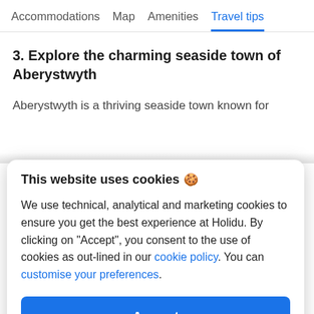Accommodations  Map  Amenities  Travel tips
3. Explore the charming seaside town of Aberystwyth
Aberystwyth is a thriving seaside town known for
This website uses cookies 🍪
We use technical, analytical and marketing cookies to ensure you get the best experience at Holidu. By clicking on "Accept", you consent to the use of cookies as out-lined in our cookie policy. You can customise your preferences.
Accept